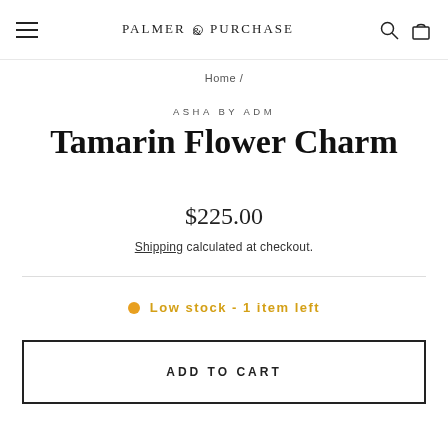PALMER & PURCHASE
Home /
ASHA BY ADM
Tamarin Flower Charm
$225.00
Shipping calculated at checkout.
Low stock - 1 item left
ADD TO CART